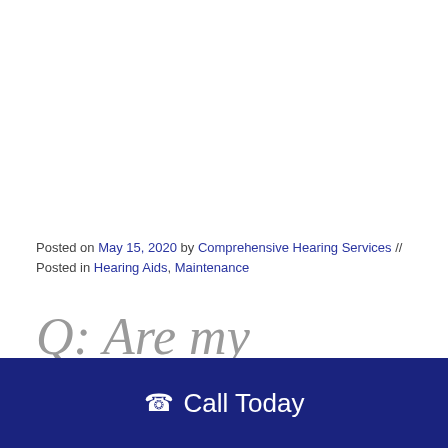Posted on May 15, 2020 by Comprehensive Hearing Services // Posted in Hearing Aids, Maintenance
Q: Are my hearing aids really kaput if they get wet?
Call Today